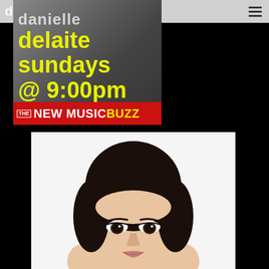danielle — hamburger menu
[Figure (photo): Promotional image for 'delaite sundays @ 9:00pm' on The New Music Buzz. Yellow text on dark background with a person's silhouette. Red banner at bottom reads 'THE NEW MUSIC BUZZ' with yellow 'BUZZ' text.]
[Figure (photo): Close-up portrait photo of an Asian woman with straight dark hair with bangs, looking directly at camera against a white background.]